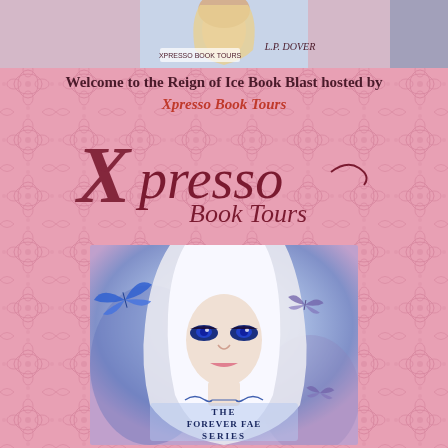[Figure (photo): Top banner showing book cover for 'Reign of Ice' by L.P. Dover with Xpresso Book Tours logo, featuring a young woman with blonde hair]
Welcome to the Reign of Ice Book Blast hosted by Xpresso Book Tours
[Figure (logo): Xpresso Book Tours logo in dark red cursive script on pink damask background]
[Figure (photo): Book cover for 'The Forever Fae Series' showing a young woman with white/platinum blonde hair, dramatic blue eye makeup, and blue butterflies around her, with a blue and purple misty background. Text reads 'THE FOREVER FAE SERIES' at the bottom.]